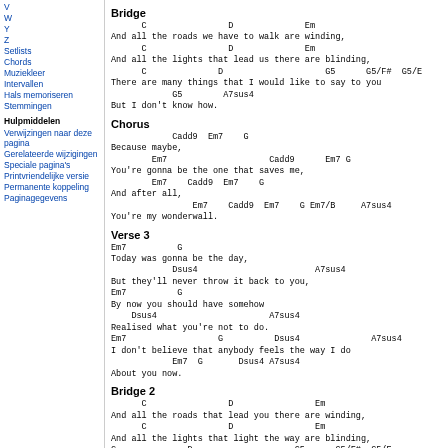V
W
Y
Z
Setlists
Chords
Muziekleer
Intervallen
Hals memoriseren
Stemmingen
Hulpmiddelen
Verwijzingen naar deze pagina
Gerelateerde wijzigingen
Speciale pagina's
Printvriendelijke versie
Permanente koppeling
Paginagegevens
Bridge
C                D              Em
And all the roads we have to walk are winding,
      C                D              Em
And all the lights that lead us there are blinding,
      C              D                    G5      G5/F#  G5/E
There are many things that I would like to say to you
            G5        A7sus4
But I don't know how.
Chorus
Cadd9  Em7    G
Because maybe,
        Em7                    Cadd9      Em7 G
You're gonna be the one that saves me,
        Em7    Cadd9  Em7    G
And after all,
                Em7    Cadd9  Em7    G Em7/B     A7sus4
You're my wonderwall.
Verse 3
Em7          G
Today was gonna be the day,
            Dsus4                       A7sus4
But they'll never throw it back to you,
Em7          G
By now you should have somehow
    Dsus4                      A7sus4
Realised what you're not to do.
Em7                  G          Dsus4              A7sus4
I don't believe that anybody feels the way I do
            Em7  G       Dsus4 A7sus4
About you now.
Bridge 2
C                D                Em
And all the roads that lead you there are winding,
      C                D                Em
And all the lights that light the way are blinding,
C              D                    G5      G5/F#  G5/E
There are many things that I would like to say to you